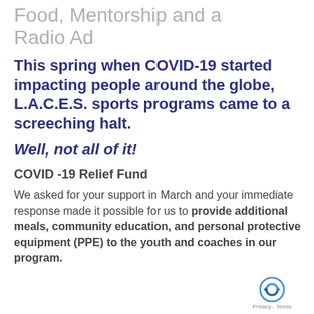Food, Mentorship and a Radio Ad
This spring when COVID-19 started impacting people around the globe, L.A.C.E.S. sports programs came to a screeching halt.
Well, not all of it!
COVID -19 Relief Fund
We asked for your support in March and your immediate response made it possible for us to provide additional meals, community education, and personal protective equipment (PPE) to the youth and coaches in our program.